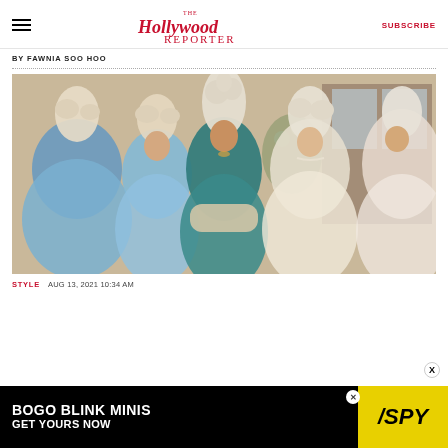The Hollywood Reporter | SUBSCRIBE
BY FAWNIA SOO HOO
[Figure (photo): Scene from a period drama showing several women in 18th-century style costumes with elaborate white powdered wigs. Center figure wears a teal gown; others wear light blue dresses.]
STYLE  AUG 13, 2021 10:34 AM
[Figure (advertisement): Advertisement: BOGO BLINK MINIS GET YOURS NOW, featuring SPY logo on yellow background]